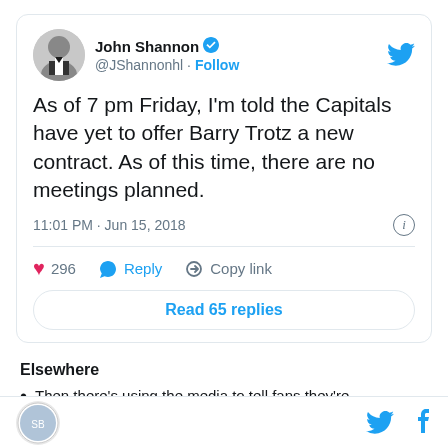[Figure (screenshot): Tweet from John Shannon (@JShannonhl) with verified badge. Tweet text: As of 7 pm Friday, I'm told the Capitals have yet to offer Barry Trotz a new contract. As of this time, there are no meetings planned. Posted at 11:01 PM · Jun 15, 2018. 296 likes, Reply, Copy link actions. Read 65 replies button.]
Elsewhere
Then there's using the media to tell fans they're
Site logo, Twitter bird icon, Facebook f icon